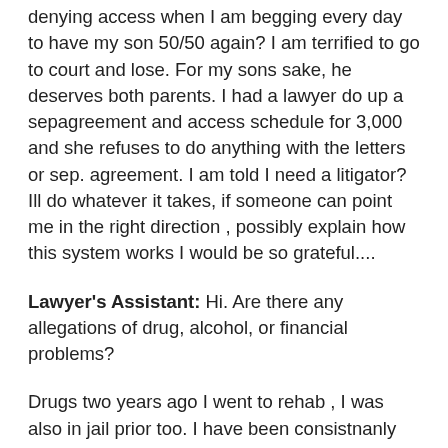denying access when I am begging every day to have my son 50/50 again? I am terrified to go to court and lose. For my sons sake, he deserves both parents. I had a lawyer do up a sepagreement and access schedule for 3,000 and she refuses to do anything with the letters or sep. agreement. I am told I need a litigator? Ill do whatever it takes, if someone can point me in the right direction , possibly explain how this system works I would be so grateful....
Lawyer's Assistant: Hi. Are there any allegations of drug, alcohol, or financial problems?
Drugs two years ago I went to rehab , I was also in jail prior too. I have been consistnanly there for my son since I left rehab. I got a place and a job. I now am a self employed construction worker making 60-70 k yearly( I only note my income because it speaks to my ability to hold a job and be accountable / sober) I have been renting the same house for 2 years and been engaged to my fiance of 3 years. We had 50/50 custody